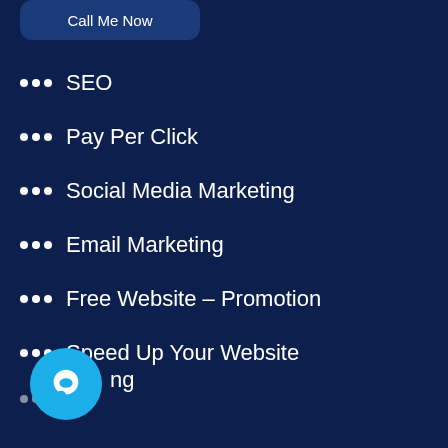[Figure (other): Partial rounded button labeled 'Call Me Now' visible at top of page]
SEO
Pay Per Click
Social Media Marketing
Email Marketing
Free Website – Promotion
Speed Up Your Website
…ng
[Figure (illustration): Blue circular chat bubble icon in the bottom left corner]